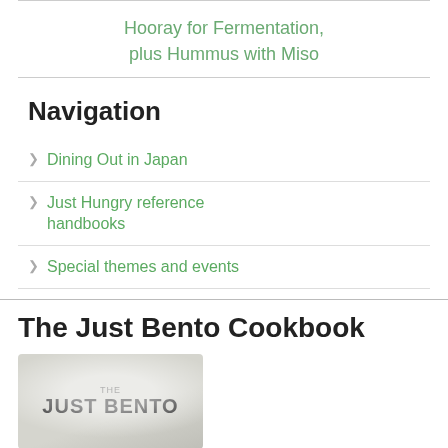Hooray for Fermentation, plus Hummus with Miso
Navigation
Dining Out in Japan
Just Hungry reference handbooks
Special themes and events
The Just Bento Cookbook
[Figure (photo): Cover image of The Just Bento Cookbook showing rice in a bento container with text THE JUST BENTO]